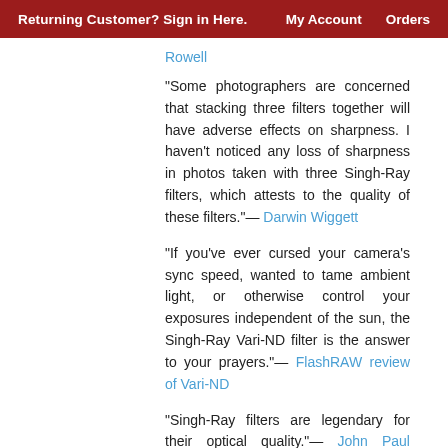Returning Customer? Sign in Here.   My Account   Orders
Rowell
“Some photographers are concerned that stacking three filters together will have adverse effects on sharpness. I haven’t noticed any loss of sharpness in photos taken with three Singh-Ray filters, which attests to the quality of these filters.”— Darwin Wiggett
“If you’ve ever cursed your camera’s sync speed, wanted to tame ambient light, or otherwise control your exposures independent of the sun, the Singh-Ray Vari-ND filter is the answer to your prayers.”— FlashRAW review of Vari-ND
“Singh-Ray filters are legendary for their optical quality.”— John Paul Camponigro, Vari-ND review